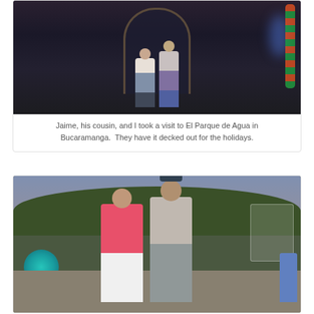[Figure (photo): Two people standing under a stone arch at El Parque de Agua in Bucaramanga, decorated with holiday lights and colorful ornaments]
Jaime, his cousin, and I took a visit to El Parque de Agua in Bucaramanga.  They have it decked out for the holidays.
[Figure (photo): A woman in a pink top and white pants and a man in a gray t-shirt and cap standing together outdoors with trees and holiday decorations in the background]